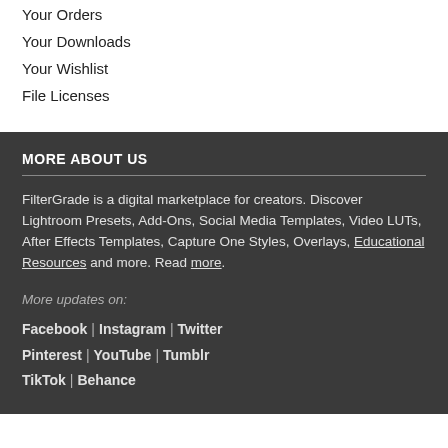Your Orders
Your Downloads
Your Wishlist
File Licenses
MORE ABOUT US
FilterGrade is a digital marketplace for creators. Discover Lightroom Presets, Add-Ons, Social Media Templates, Video LUTs, After Effects Templates, Capture One Styles, Overlays, Educational Resources and more. Read more.
More updates on:
Facebook | Instagram | Twitter Pinterest | YouTube | Tumblr TikTok | Behance